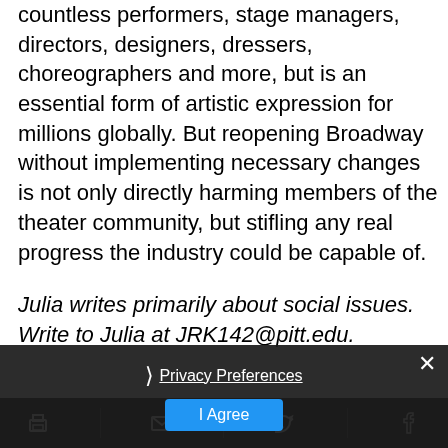countless performers, stage managers, directors, designers, dressers, choreographers and more, but is an essential form of artistic expression for millions globally. But reopening Broadway without implementing necessary changes is not only directly harming members of the theater community, but stifling any real progress the industry could be capable of.
Julia writes primarily about social issues. Write to Julia at JRK142@pitt.edu.
[Figure (screenshot): Walnut Capital University advertisement banner with orange gradient background]
[Figure (screenshot): Cookie consent overlay with Privacy Preferences link and I Agree button on dark semi-transparent background]
[Figure (screenshot): Bottom share bar with print, email, Twitter, and Facebook icons on dark background]